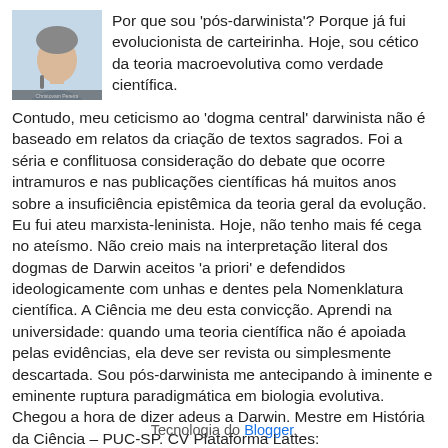[Figure (photo): Portrait photo of a man in a light blue shirt, partially visible, microphone visible]
Por que sou 'pós-darwinista'? Porque já fui evolucionista de carteirinha. Hoje, sou cético da teoria macroevolutiva como verdade científica. Contudo, meu ceticismo ao 'dogma central' darwinista não é baseado em relatos da criação de textos sagrados. Foi a séria e conflituosa consideração do debate que ocorre intramuros e nas publicações científicas há muitos anos sobre a insuficiência epistêmica da teoria geral da evolução. Eu fui ateu marxista-leninista. Hoje, não tenho mais fé cega no ateísmo. Não creio mais na interpretação literal dos dogmas de Darwin aceitos 'a priori' e defendidos ideologicamente com unhas e dentes pela Nomenklatura científica. A Ciência me deu esta convicção. Aprendi na universidade: quando uma teoria científica não é apoiada pelas evidências, ela deve ser revista ou simplesmente descartada. Sou pós-darwinista me antecipando à iminente e eminente ruptura paradigmática em biologia evolutiva. Chegou a hora de dizer adeus a Darwin. Mestre em História da Ciência – PUC-SP. CV Plataforma Lattes: http://lattes.cnpq.br/6602620537249723
Ver meu perfil completo
Tecnologia do Blogger.